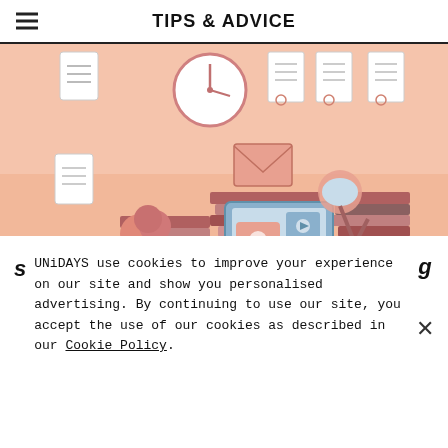TIPS & ADVICE
[Figure (illustration): Colourful flat illustration of a student study desk scene with stacked books, a laptop showing video content, a desk lamp, a clock on the wall, potted plants, envelopes, certificates, and a coffee cup on a peach/salmon background.]
UNiDAYS use cookies to improve your experience on our site and show you personalised advertising. By continuing to use our site, you accept the use of our cookies as described in our Cookie Policy.